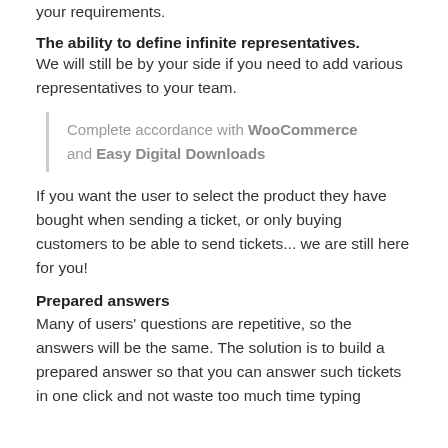your requirements.
The ability to define infinite representatives. We will still be by your side if you need to add various representatives to your team.
Complete accordance with WooCommerce and Easy Digital Downloads
If you want the user to select the product they have bought when sending a ticket, or only buying customers to be able to send tickets... we are still here for you!
Prepared answers
Many of users' questions are repetitive, so the answers will be the same. The solution is to build a prepared answer so that you can answer such tickets in one click and not waste too much time typing